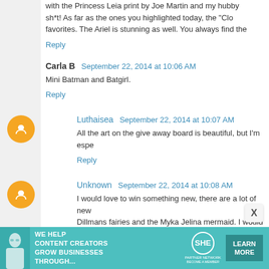with the Princess Leia print by Joe Martin and my hubby sh*t! As far as the ones you highlighted today, the "Clo favorites. The Ariel is stunning as well. You always find the
Reply
Carla B  September 22, 2014 at 10:06 AM
Mini Batman and Batgirl.
Reply
Luthaisea  September 22, 2014 at 10:07 AM
All the art on the give away board is beautiful, but I'm espe
Reply
Unknown  September 22, 2014 at 10:08 AM
I would love to win something new, there are a lot of new Dillmans fairies and the Myka Jelina mermaid. I would be s
Reply
[Figure (infographic): SHE Partner Network advertisement banner: teal background with woman photo, text 'WE HELP CONTENT CREATORS GROW BUSINESSES THROUGH...', SHE logo, and LEARN MORE button]